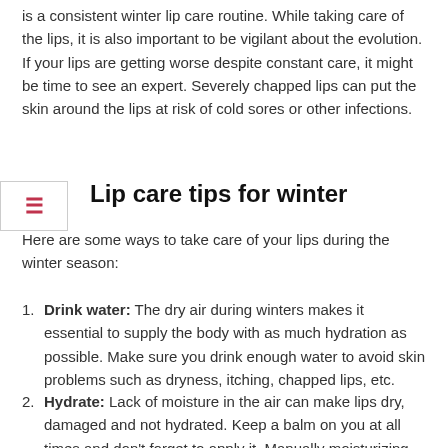is a consistent winter lip care routine. While taking care of the lips, it is also important to be vigilant about the evolution. If your lips are getting worse despite constant care, it might be time to see an expert. Severely chapped lips can put the skin around the lips at risk of cold sores or other infections.
Lip care tips for winter
Here are some ways to take care of your lips during the winter season:
Drink water: The dry air during winters makes it essential to supply the body with as much hydration as possible. Make sure you drink enough water to avoid skin problems such as dryness, itching, chapped lips, etc.
Hydrate: Lack of moisture in the air can make lips dry, damaged and not hydrated. Keep a balm on you at all times and don't forget to apply it. Manually moisturizing the skin can be an effective way to keep lips soft, pink and plump. Also avoid menthol or camphor-